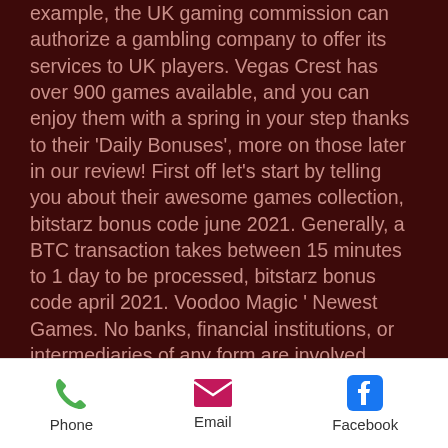example, the UK gaming commission can authorize a gambling company to offer its services to UK players. Vegas Crest has over 900 games available, and you can enjoy them with a spring in your step thanks to their 'Daily Bonuses', more on those later in our review! First off let's start by telling you about their awesome games collection, bitstarz bonus code june 2021. Generally, a BTC transaction takes between 15 minutes to 1 day to be processed, bitstarz bonus code april 2021. Voodoo Magic ' Newest Games. No banks, financial institutions, or intermediaries of any form are involved, bitstarz bonus. The transactions are automatically executed by the blockchain. A: A Bitcoin wallet, also called digital wallet, is a software/program that is used to store Bitcoin. BTC is a virtual currency, bitstarz
Phone | Email | Facebook